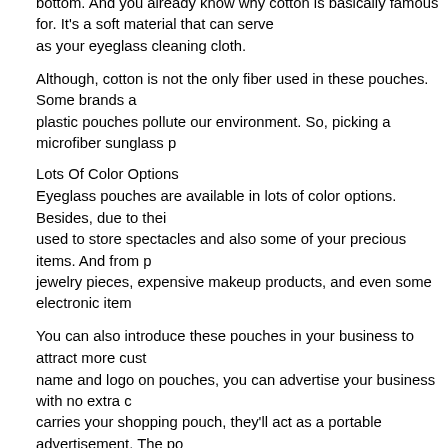bottom. And you already know why cotton is basically famous for. It's a soft material that can serve as your eyeglass cleaning cloth.
Although, cotton is not the only fiber used in these pouches. Some brands also use plastic pouches pollute our environment. So, picking a microfiber sunglass p
Lots Of Color Options
Eyeglass pouches are available in lots of color options. Besides, due to their used to store spectacles and also some of your precious items. And from jewelry pieces, expensive makeup products, and even some electronic item
You can also introduce these pouches in your business to attract more cust name and logo on pouches, you can advertise your business with no extra carries your shopping pouch, they'll act as a portable advertisement. The p attention and transfer it to your brand info. This way, you can increase your little bit of your competition.
Supports A Good Cause
People nowadays understand the importance of environmental safety, which from non-biodegradable things to eco-friendly stuff. That's why there's a rap recycled and environment-friendly pouches in the past few years. As a busi change and offer what your customers need. If you still use those cheap pla now. Instead, offer your customers recycled and biodegradable pouches wh